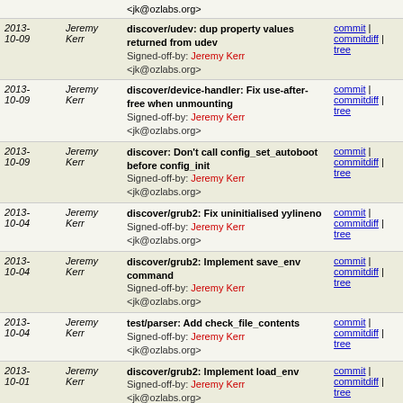| Date | Author | Commit message |  |
| --- | --- | --- | --- |
|  |  | <jk@ozlabs.org> | commit | commitdiff | tree |
| 2013-10-09 | Jeremy Kerr | discover/udev: dup property values returned from udev
Signed-off-by: Jeremy Kerr <jk@ozlabs.org> | commit | commitdiff | tree |
| 2013-10-09 | Jeremy Kerr | discover/device-handler: Fix use-after-free when unmounting
Signed-off-by: Jeremy Kerr <jk@ozlabs.org> | commit | commitdiff | tree |
| 2013-10-09 | Jeremy Kerr | discover: Don't call config_set_autoboot before config_init
Signed-off-by: Jeremy Kerr <jk@ozlabs.org> | commit | commitdiff | tree |
| 2013-10-04 | Jeremy Kerr | discover/grub2: Fix uninitialised yylineno
Signed-off-by: Jeremy Kerr <jk@ozlabs.org> | commit | commitdiff | tree |
| 2013-10-04 | Jeremy Kerr | discover/grub2: Implement save_env command
Signed-off-by: Jeremy Kerr <jk@ozlabs.org> | commit | commitdiff | tree |
| 2013-10-04 | Jeremy Kerr | test/parser: Add check_file_contents
Signed-off-by: Jeremy Kerr <jk@ozlabs.org> | commit | commitdiff | tree |
| 2013-10-01 | Jeremy Kerr | discover/grub2: Implement load_env
Signed-off-by: Jeremy Kerr <jk@ozlabs.org> | commit | commitdiff | tree |